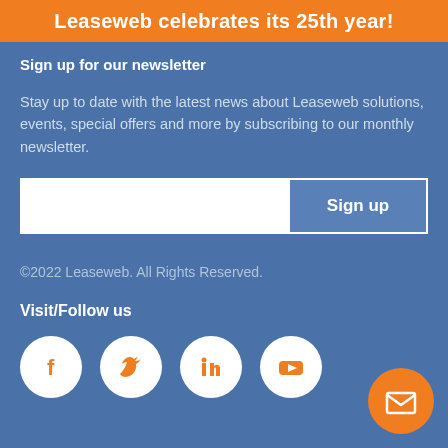Leaseweb celebrates its 25th year!
Sign up for our newsletter
Stay up to date with the latest news about Leaseweb solutions, events, special offers and more by subscribing to our monthly newsletter.
©2022 Leaseweb. All Rights Reserved.
Visit/Follow us
[Figure (infographic): Social media icons: Facebook, Twitter, LinkedIn, YouTube circles in white on blue background, plus an orange email FAB button]